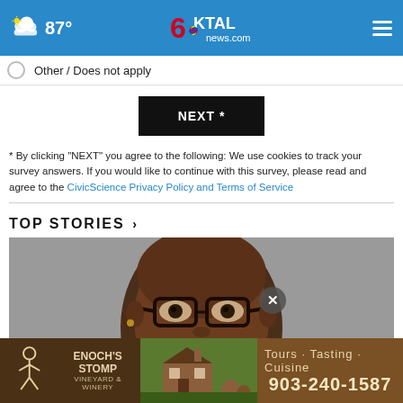87° | 6KTAL news.com
Other / Does not apply
NEXT *
* By clicking "NEXT" you agree to the following: We use cookies to track your survey answers. If you would like to continue with this survey, please read and agree to the CivicScience Privacy Policy and Terms of Service
TOP STORIES ›
[Figure (photo): Close-up portrait photo of a person wearing thick-framed glasses against a gray background]
[Figure (infographic): Advertisement banner for Enoch's Stomp winery: Tours · Tasting · Cuisine, 903-240-1587]